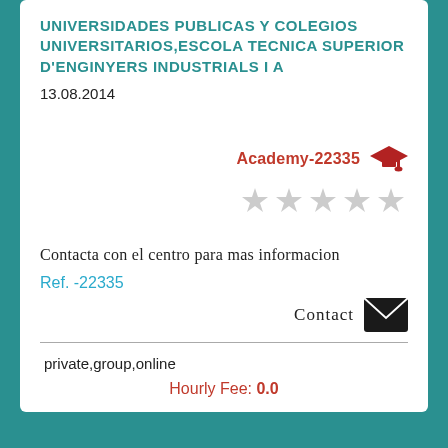UNIVERSIDADES PUBLICAS Y COLEGIOS UNIVERSITARIOS,ESCOLA TECNICA SUPERIOR D'ENGINYERS INDUSTRIALS I A
13.08.2014
[Figure (logo): Academy-22335 label with graduation cap icon in dark red]
[Figure (other): Five empty/grey star rating icons]
Contacta con el centro para mas informacion
Ref. -22335
Contact
private,group,online
Hourly Fee: 0.0